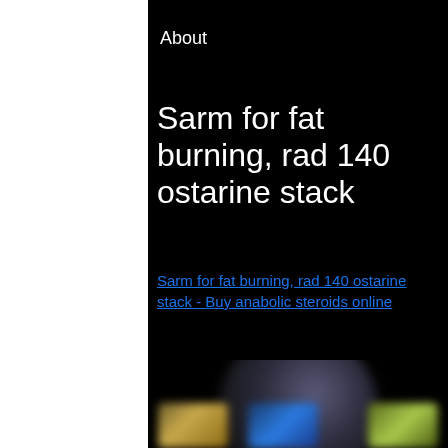About
Sarm for fat burning, rad 140 ostarine stack
Sarm for fat burning, rad 140 ostarine stack - Buy anabolic steroids online
[Figure (photo): Blurred image of fitness/supplement products on a dark background, showing three product containers at the bottom]